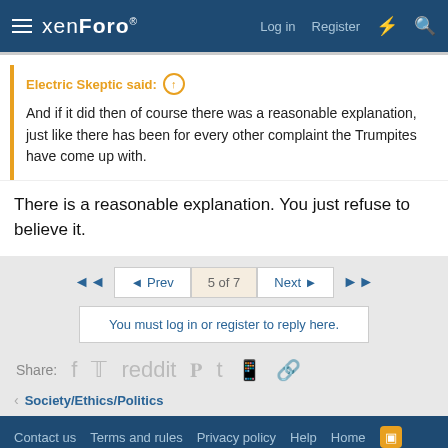xenForo — Log in  Register
Electric Skeptic said: ↑
And if it did then of course there was a reasonable explanation, just like there has been for every other complaint the Trumpites have come up with.
There is a reasonable explanation. You just refuse to believe it.
◄◄  ◄ Prev  5 of 7  Next ►  ►►
You must log in or register to reply here.
Share:
Society/Ethics/Politics
Contact us  Terms and rules  Privacy policy  Help  Home
Community platform by XenForo® © 2010-2021 XenForo Ltd.